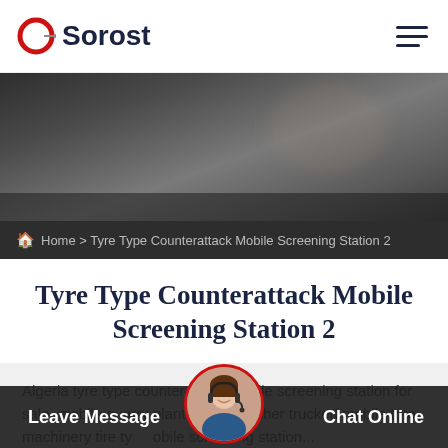Sorost
[Figure (photo): Dark blurred hero/banner image with a person in the background, dark overlay]
Home > Tyre Type Counterattack Mobile Screening Station 2
Tyre Type Counterattack Mobile Screening Station 2
Algeria tyre type counterattack mobile screening station for sale. mobile quarry plant mobile crusher trucked mobile tote machinery tire type mobile screening station...
[Figure (photo): Customer service representative avatar with red circle border]
Leave Message
Chat Online